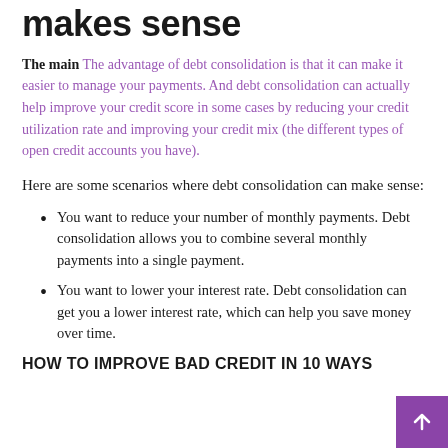makes sense
The main The advantage of debt consolidation is that it can make it easier to manage your payments. And debt consolidation can actually help improve your credit score in some cases by reducing your credit utilization rate and improving your credit mix (the different types of open credit accounts you have).
Here are some scenarios where debt consolidation can make sense:
You want to reduce your number of monthly payments. Debt consolidation allows you to combine several monthly payments into a single payment.
You want to lower your interest rate. Debt consolidation can get you a lower interest rate, which can help you save money over time.
HOW TO IMPROVE BAD CREDIT IN 10 WAYS